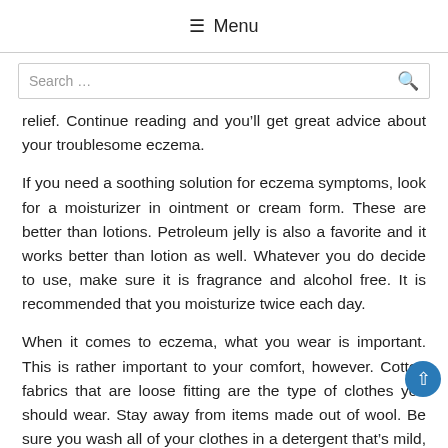☰ Menu
Search ...
relief. Continue reading and you'll get great advice about your troublesome eczema.
If you need a soothing solution for eczema symptoms, look for a moisturizer in ointment or cream form. These are better than lotions. Petroleum jelly is also a favorite and it works better than lotion as well. Whatever you do decide to use, make sure it is fragrance and alcohol free. It is recommended that you moisturize twice each day.
When it comes to eczema, what you wear is important. This is rather important to your comfort, however. Cotton fabrics that are loose fitting are the type of clothes you should wear. Stay away from items made out of wool. Be sure you wash all of your clothes in a detergent that's mild, and be sure you rinse twice before wearing them.